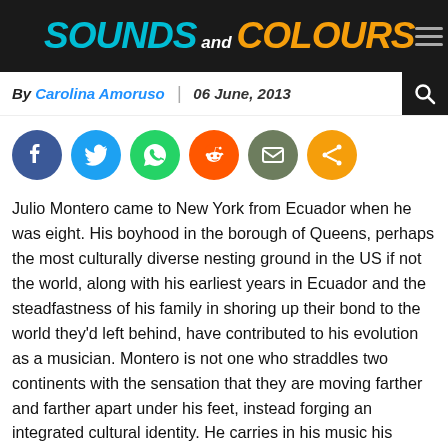Sounds and Colours
By Carolina Amoruso | 06 June, 2013
[Figure (infographic): Social share buttons row: Facebook (blue), Twitter (light blue), WhatsApp (green), Reddit (orange-red), Email (olive/grey), Share (orange)]
Julio Montero came to New York from Ecuador when he was eight. His boyhood in the borough of Queens, perhaps the most culturally diverse nesting ground in the US if not the world, along with his earliest years in Ecuador and the steadfastness of his family in shoring up their bond to the world they'd left behind, have contributed to his evolution as a musician. Montero is not one who straddles two continents with the sensation that they are moving farther and farther apart under his feet, instead forging an integrated cultural identity. He carries in his music his essence as an Ecuadorian; it reveals him, too, as a consciously engaged Latino who